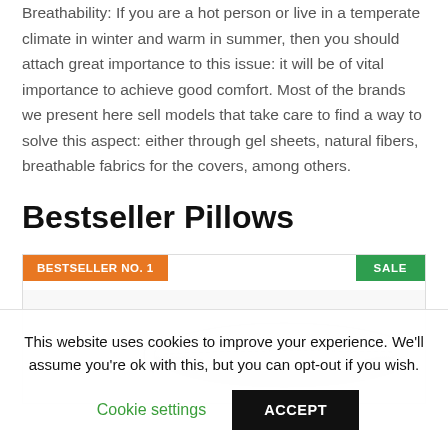Breathability: If you are a hot person or live in a temperate climate in winter and warm in summer, then you should attach great importance to this issue: it will be of vital importance to achieve good comfort. Most of the brands we present here sell models that take care to find a way to solve this aspect: either through gel sheets, natural fibers, breathable fabrics for the covers, among others.
Bestseller Pillows
[Figure (photo): Product card showing a white pillow with BESTSELLER NO. 1 orange badge on top-left and green SALE badge on top-right]
This website uses cookies to improve your experience. We'll assume you're ok with this, but you can opt-out if you wish.